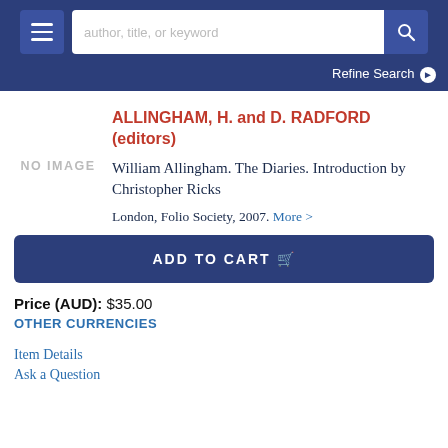author, title, or keyword [search bar] Refine Search
ALLINGHAM, H. and D. RADFORD (editors)
William Allingham. The Diaries. Introduction by Christopher Ricks
London, Folio Society, 2007. More >
ADD TO CART
Price (AUD): $35.00
OTHER CURRENCIES
Item Details
Ask a Question